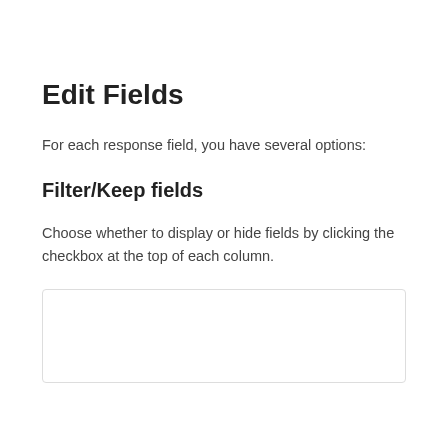Edit Fields
For each response field, you have several options:
Filter/Keep fields
Choose whether to display or hide fields by clicking the checkbox at the top of each column.
[Figure (screenshot): A bordered white box representing a UI screenshot area, partially visible at the bottom of the page.]